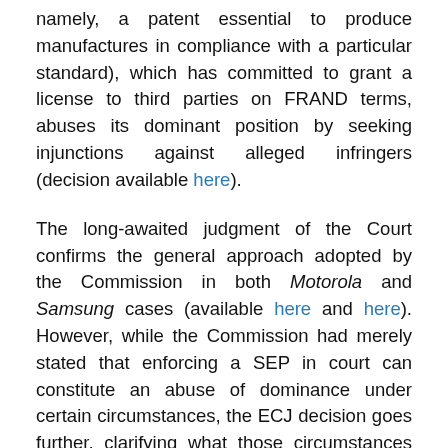namely, a patent essential to produce manufactures in compliance with a particular standard), which has committed to grant a license to third parties on FRAND terms, abuses its dominant position by seeking injunctions against alleged infringers (decision available here).
The long-awaited judgment of the Court confirms the general approach adopted by the Commission in both Motorola and Samsung cases (available here and here). However, while the Commission had merely stated that enforcing a SEP in court can constitute an abuse of dominance under certain circumstances, the ECJ decision goes further, clarifying what those circumstances are. In particular, the Court held that seeking an injunction against an alleged infringer does not violate competition law when the following conditions are